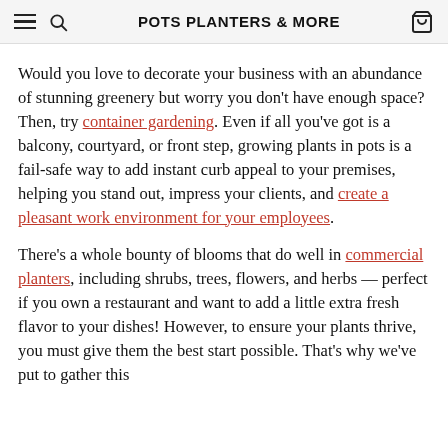POTS PLANTERS & MORE
Would you love to decorate your business with an abundance of stunning greenery but worry you don't have enough space? Then, try container gardening. Even if all you've got is a balcony, courtyard, or front step, growing plants in pots is a fail-safe way to add instant curb appeal to your premises, helping you stand out, impress your clients, and create a pleasant work environment for your employees.
There's a whole bounty of blooms that do well in commercial planters, including shrubs, trees, flowers, and herbs — perfect if you own a restaurant and want to add a little extra fresh flavor to your dishes! However, to ensure your plants thrive, you must give them the best start possible. That's why we've put to gather this